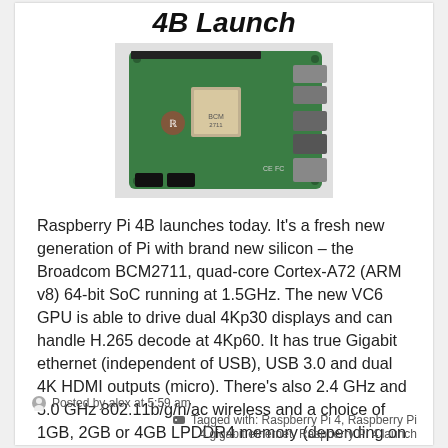4B Launch
[Figure (photo): Raspberry Pi 4B single-board computer circuit board, top view, showing green PCB with various ports and chips]
Raspberry Pi 4B launches today. It's a fresh new generation of Pi with brand new silicon – the Broadcom BCM2711, quad-core Cortex-A72 (ARM v8) 64-bit SoC running at 1.5GHz. The new VC6 GPU is able to drive dual 4Kp30 displays and can handle H.265 decode at 4Kp60. It has true Gigabit ethernet (independent of USB), USB 3.0 and dual 4K HDMI outputs (micro). There's also 2.4 GHz and 5.0 GHz 802.11b/g/n/ac wireless and a choice of 1GB, 2GB or 4GB LPDDR4 memory (depending on which model you select). Pi4B is the same form factor as [...more...]
Posted by alex at 5:59 am | Tagged with: Raspberry Pi 4, Raspberry Pi 4 gigabit ethernet, Raspberry Pi 4 launch